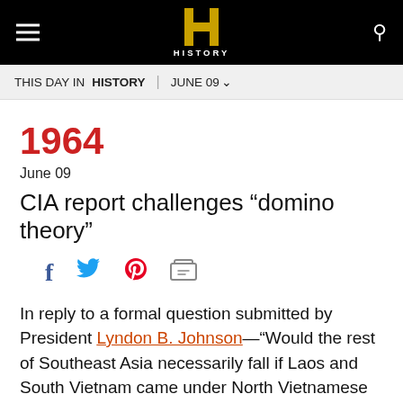HISTORY | THIS DAY IN HISTORY | JUNE 09
1964
June 09
CIA report challenges “domino theory”
[Figure (other): Social sharing icons: Facebook, Twitter, Pinterest, Print]
In reply to a formal question submitted by President Lyndon B. Johnson—“Would the rest of Southeast Asia necessarily fall if Laos and South Vietnam came under North Vietnamese control?”—the Central